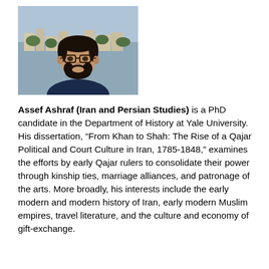[Figure (photo): Headshot photo of Assef Ashraf, a young man with dark hair, beard, and glasses, outdoors with a hillside cityscape in the background.]
Assef Ashraf (Iran and Persian Studies) is a PhD candidate in the Department of History at Yale University. His dissertation, “From Khan to Shah: The Rise of a Qajar Political and Court Culture in Iran, 1785-1848,” examines the efforts by early Qajar rulers to consolidate their power through kinship ties, marriage alliances, and patronage of the arts. More broadly, his interests include the early modern and modern history of Iran, early modern Muslim empires, travel literature, and the culture and economy of gift-exchange.